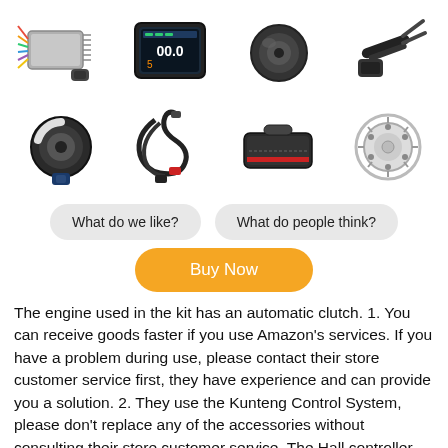[Figure (photo): Grid of 8 electric bike kit components: controller, LCD display, brake lever assembly, hydraulic brake, motor hub, cable harness, battery bag, and brake disc rotor]
What do we like?
What do people think?
Buy Now
The engine used in the kit has an automatic clutch. 1. You can receive goods faster if you use Amazon's services. If you have a problem during use, please contact their store customer service first, they have experience and can provide you a solution. 2. They use the Kunteng Control System, please don't replace any of the accessories without consulting their store customer service. The Hall controller can start quickly